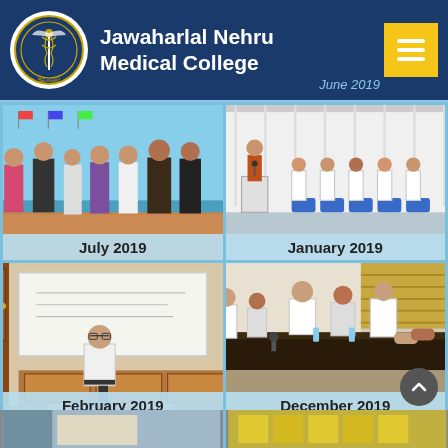Jawaharlal Nehru Medical College — June 2019
[Figure (photo): Group of people standing outdoors near a pool, July 2019]
July 2019
[Figure (photo): Woman presenting at podium to audience of medical students, January 2019]
January 2019
[Figure (photo): Man in white shirt presenting in front of whiteboard, February 2019]
February 2019
[Figure (photo): Medical professionals in white coats at meeting table, December 2019]
December 2019